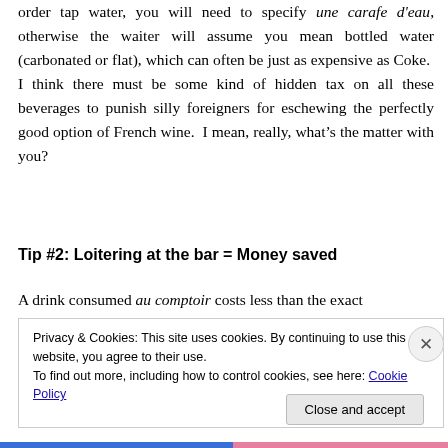order tap water, you will need to specify une carafe d'eau, otherwise the waiter will assume you mean bottled water (carbonated or flat), which can often be just as expensive as Coke.  I think there must be some kind of hidden tax on all these beverages to punish silly foreigners for eschewing the perfectly good option of French wine.  I mean, really, what's the matter with you?
Tip #2: Loitering at the bar = Money saved
A drink consumed au comptoir costs less than the exact
Privacy & Cookies: This site uses cookies. By continuing to use this website, you agree to their use.
To find out more, including how to control cookies, see here: Cookie Policy
Close and accept